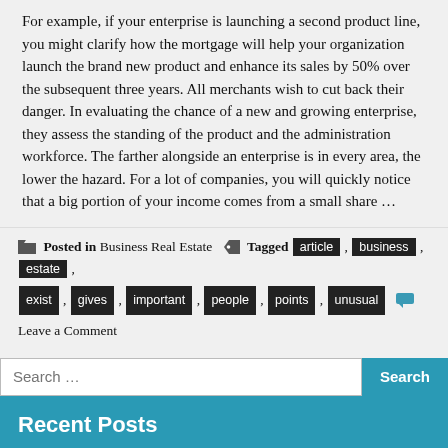For example, if your enterprise is launching a second product line, you might clarify how the mortgage will help your organization launch the brand new product and enhance its sales by 50% over the subsequent three years. All merchants wish to cut back their danger. In evaluating the chance of a new and growing enterprise, they assess the standing of the product and the administration workforce. The farther alongside an enterprise is in every area, the lower the hazard. For a lot of companies, you will quickly notice that a big portion of your income comes from a small share …
Posted in Business Real Estate  Tagged article , business , estate , exist , gives , important , people , points , unusual  Leave a Comment
Search …
Recent Posts
The Best Guide To Real Estate Nest
Function As The First To Read What The Experts Assert About